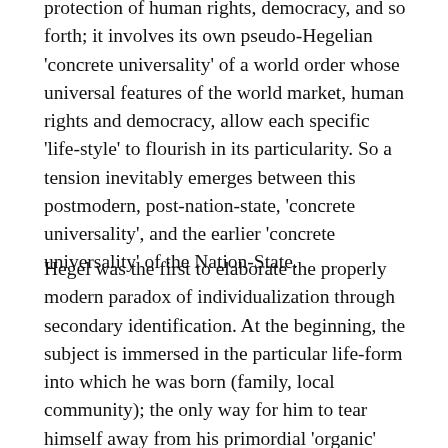protection of human rights, democracy, and so forth; it involves its own pseudo-Hegelian 'concrete universality' of a world order whose universal features of the world market, human rights and democracy, allow each specific 'life-style' to flourish in its particularity. So a tension inevitably emerges between this postmodern, post-nation-state, 'concrete universality', and the earlier 'concrete universality' of the Nation-State.
Hegel was the first to elaborate the properly modern paradox of individualization through secondary identification. At the beginning, the subject is immersed in the particular life-form into which he was born (family, local community); the only way for him to tear himself away from his primordial 'organic' community, to cut his links with it and to assert himself